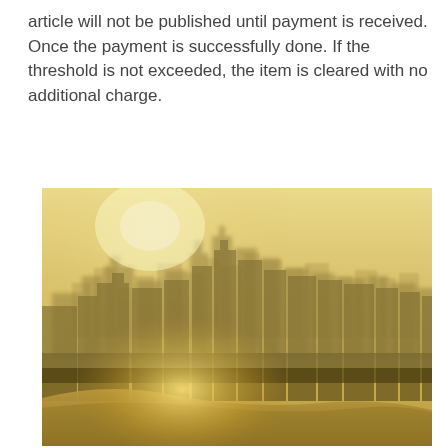article will not be published until payment is received. Once the payment is successfully done. If the threshold is not exceeded, the item is cleared with no additional charge.
[Figure (photo): Aerial photograph of a city skyline shrouded in heavy smog or haze, with a river curving in the foreground reflecting golden/yellow light. Skyscrapers are barely visible through the thick hazy atmosphere. The overall color tone is warm yellow-golden.]